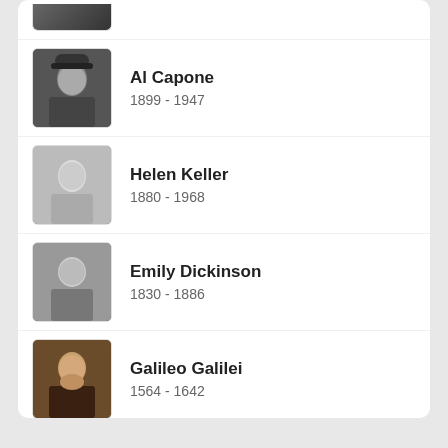Al Capone
1899 - 1947
Helen Keller
1880 - 1968
Emily Dickinson
1830 - 1886
Galileo Galilei
1564 - 1642
Vincent Van Gogh
1853 - 1890
Golda Meir
1898 - 1978